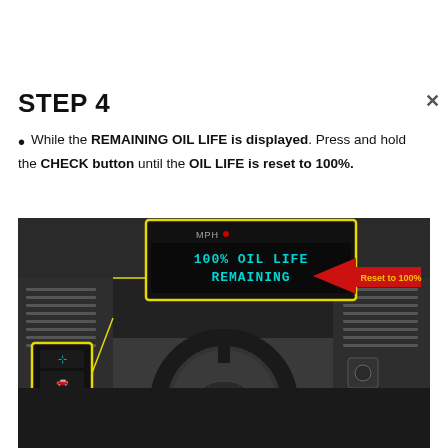STEP 4
While the REMAINING OIL LIFE is displayed. Press and hold the CHECK button until the OIL LIFE is reset to 100%.
[Figure (photo): Dashboard photo of a GMC van interior showing the steering wheel and instrument cluster. A yellow-outlined panel on the left shows control buttons with icons. A yellow-bordered display screen at top center shows '100% OIL LIFE REMAINING' in cyan text. A red arrow points to the screen with text 'Reset to 100%' in yellow/orange.]